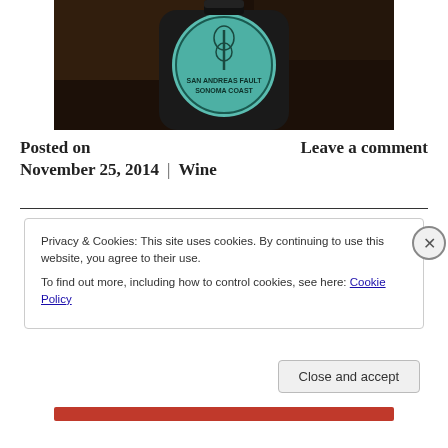[Figure (photo): A wine bottle with a teal/turquoise circular label reading 'San Andreas Fault Sonoma Coast', photographed in a dark setting.]
Posted on
November 25, 2014
Leave a comment
Wine
Privacy & Cookies: This site uses cookies. By continuing to use this website, you agree to their use.
To find out more, including how to control cookies, see here: Cookie Policy
Close and accept